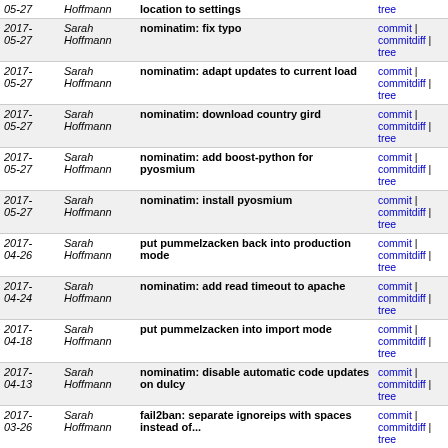| Date | Author | Message | Links |
| --- | --- | --- | --- |
| 2017-05-27 | Sarah Hoffmann | location to settings | commit | commitdiff | tree |
| 2017-05-27 | Sarah Hoffmann | nominatim: fix typo | commit | commitdiff | tree |
| 2017-05-27 | Sarah Hoffmann | nominatim: adapt updates to current load | commit | commitdiff | tree |
| 2017-05-27 | Sarah Hoffmann | nominatim: download country gird | commit | commitdiff | tree |
| 2017-05-27 | Sarah Hoffmann | nominatim: add boost-python for pyosmium | commit | commitdiff | tree |
| 2017-05-27 | Sarah Hoffmann | nominatim: install pyosmium | commit | commitdiff | tree |
| 2017-04-26 | Sarah Hoffmann | put pummelzacken back into production mode | commit | commitdiff | tree |
| 2017-04-24 | Sarah Hoffmann | nominatim: add read timeout to apache | commit | commitdiff | tree |
| 2017-04-18 | Sarah Hoffmann | put pummelzacken into import mode | commit | commitdiff | tree |
| 2017-04-13 | Sarah Hoffmann | nominatim: disable automatic code updates on dulcy | commit | commitdiff | tree |
| 2017-03-26 | Sarah Hoffmann | fail2ban: separate ignoreips with spaces instead of... | commit | commitdiff | tree |
| 2017-03-24 | Sarah Hoffmann | nominatim: rotate apache logs more often | commit | commitdiff | tree |
| 2017-03-24 | Sarah Hoffmann | nominatim: ban IPs that repeatedly send bad requests | commit | commitdiff | tree |
| 2016-11-19 | Sarah Hoffmann | nominatim: reduce number of logs kept | commit | commitdiff | tree |